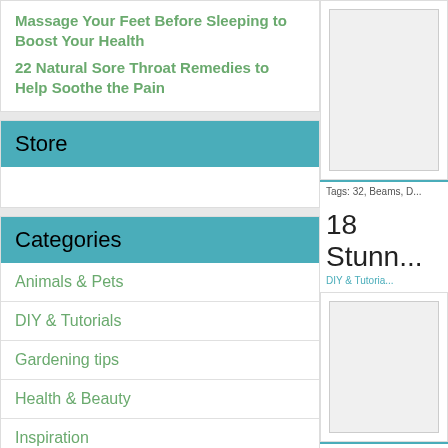Massage Your Feet Before Sleeping to Boost Your Health
22 Natural Sore Throat Remedies to Help Soothe the Pain
Store
Categories
Animals & Pets
DIY & Tutorials
Gardening tips
Health & Beauty
Inspiration
Kids Crafts
Recipes & Food
Self Sufficiency
Uncategorized
[Figure (photo): Image placeholder top right]
Tags: 32, Beams, D...
18 Stunn...
DIY & Tutoria...
[Figure (photo): Image placeholder bottom right]
Tags: 18, Pebbles,...